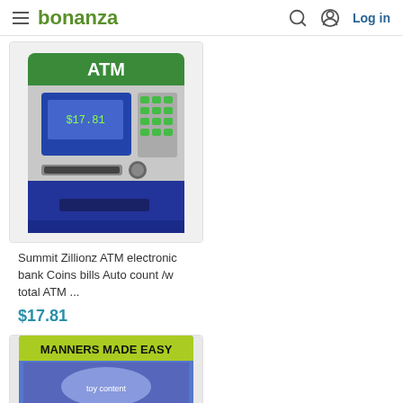bonanza | Log in
[Figure (photo): Photo of a Summit Zillionz ATM electronic bank toy with green ATM sign on top, blue keypad, screen, and card slot]
Summit Zillionz ATM electronic bank Coins bills Auto count /w total ATM ...
$17.81
[Figure (photo): Partial photo of a toy/game box labeled MANNERS MADE EASY with yellow-green header bar and blue packaging]